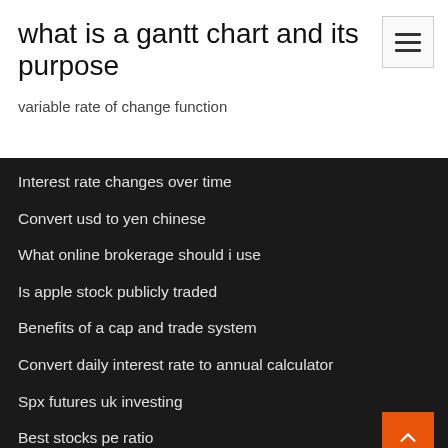what is a gantt chart and its purpose
variable rate of change function
Interest rate changes over time
Convert usd to yen chinese
What online brokerage should i use
Is apple stock publicly traded
Benefits of a cap and trade system
Convert daily interest rate to annual calculator
Spx futures uk investing
Best stocks pe ratio
Canadian otc markets